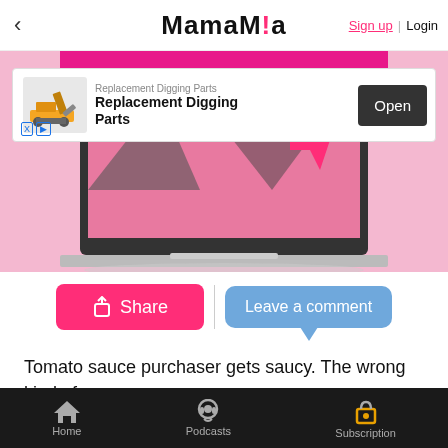< MamaMia  Sign up | Login
[Figure (illustration): Pink background with a laptop showing a Mamamia website screenshot, with an advertisement overlay for Replacement Digging Parts with an Open button]
Share
Leave a comment
Tomato sauce purchaser gets saucy. The wrong kind of saucy.
A Heinz tomato sauce purchaser in Germany was
Home  Podcasts  Subscription